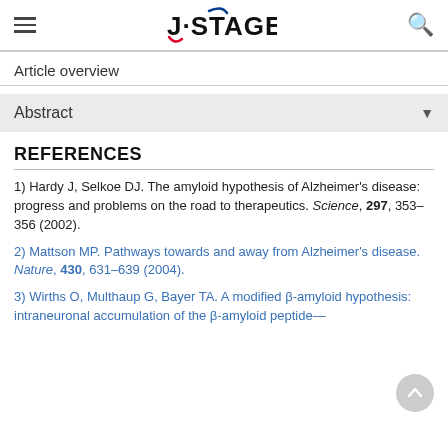J-STAGE
Article overview
Abstract
REFERENCES
1) Hardy J, Selkoe DJ. The amyloid hypothesis of Alzheimer's disease: progress and problems on the road to therapeutics. Science, 297, 353–356 (2002).
2) Mattson MP. Pathways towards and away from Alzheimer's disease. Nature, 430, 631–639 (2004).
3) Wirths O, Multhaup G, Bayer TA. A modified β-amyloid hypothesis: intraneuronal accumulation of the β-amyloid peptide—